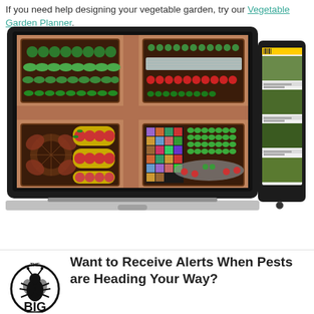If you need help designing your vegetable garden, try our Vegetable Garden Planner.
[Figure (screenshot): Screenshot of a Vegetable Garden Planner software shown on a laptop and tablet device. The laptop screen displays a garden planning interface with four raised bed sections showing various vegetables arranged in rows. The tablet shows a sidebar with garden images and text.]
Want to Receive Alerts When Pests are Heading Your Way?